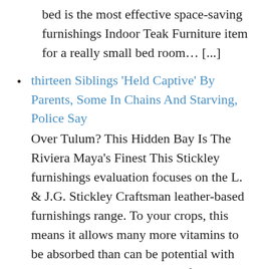bed is the most effective space-saving furnishings Indoor Teak Furniture item for a really small bed room… [...]
thirteen Siblings ‘Held Captive’ By Parents, Some In Chains And Starving, Police Say
Over Tulum? This Hidden Bay Is The Riviera Maya’s Finest This Stickley furnishings evaluation focuses on the L. & J.G. Stickley Craftsman leather-based furnishings range. To your crops, this means it allows many more vitamins to be absorbed than can be potential with out the humic acid. Grow air-filtering vegetation. Among the most necessary vitamins… [...]
Sunbrella Indoor Furnishings
How To Clear Wicker Furnishings With Salt If